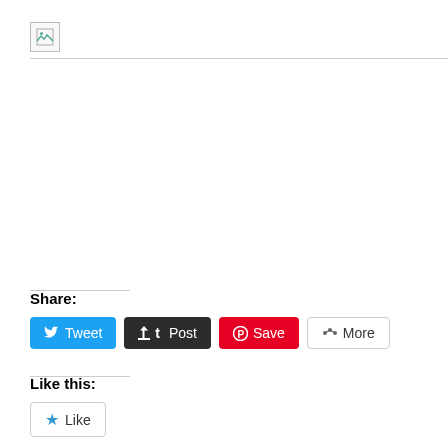[Figure (other): Broken image placeholder icon with horizontal rule]
Share:
[Figure (other): Tweet button (blue, Twitter bird icon)]
[Figure (other): Post button (dark/black, Tumblr t icon)]
[Figure (other): Save button (red, Pinterest P icon)]
[Figure (other): More button (outline, share icon)]
Like this:
[Figure (other): Like button with star icon]